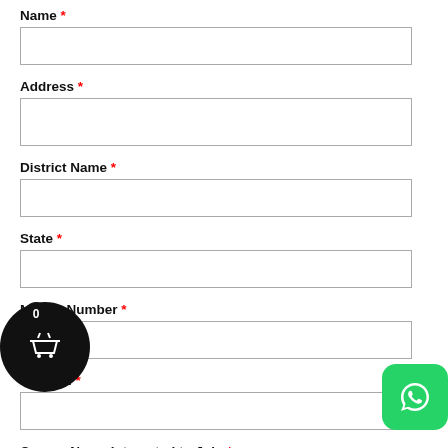Name *
Address *
District Name *
State *
Mobile Number *
Email id *
Course Name Interested to Join *